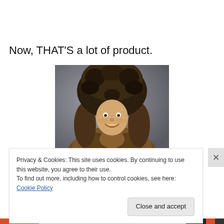Now, THAT'S a lot of product.
[Figure (photo): A man smiling, wearing a large dark furry hat and a fur coat or fur-trimmed top, posed against a grey studio background.]
Privacy & Cookies: This site uses cookies. By continuing to use this website, you agree to their use.
To find out more, including how to control cookies, see here: Cookie Policy
Close and accept